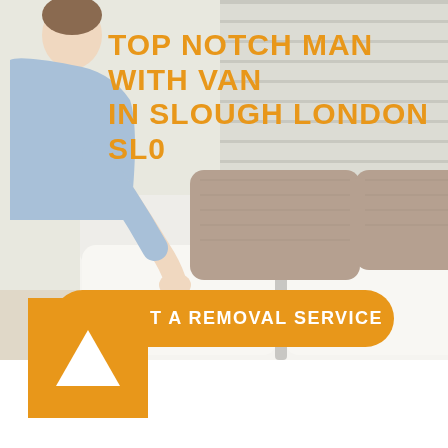[Figure (photo): A man in a blue shirt leaning over a white sofa with brown cushions in a bright living room setting]
TOP NOTCH MAN WITH VAN IN SLOUGH LONDON SL0
REQUEST A REMOVAL SERVICE
[Figure (logo): Orange square with a white upward-pointing triangle — company logo mark]